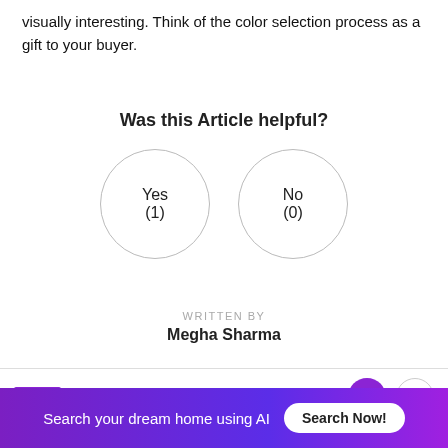visually interesting. Think of the color selection process as a gift to your buyer.
Was this Article helpful?
[Figure (infographic): Two circular buttons side by side: 'Yes (1)' and 'No (0)' for article helpfulness voting]
WRITTEN BY
Megha Sharma
NEW  0  0
Search your dream home using AI  Search Now!